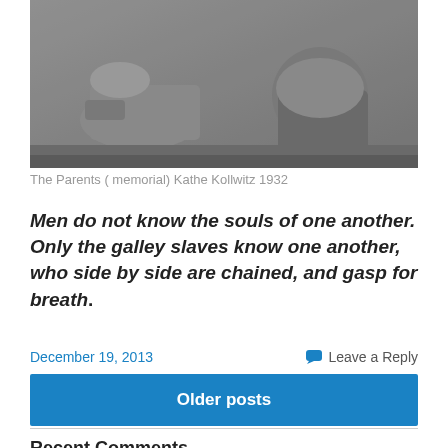[Figure (photo): Black and white photograph of stone sculpture 'The Parents' memorial by Kathe Kollwitz, 1932, showing two kneeling figures]
The Parents ( memorial) Kathe Kollwitz 1932
Men do not know the souls of one another. Only the galley slaves know one another, who side by side are chained, and gasp for breath.
December 19, 2013
Leave a Reply
Older posts
Recent Comments
thatwoman on August 3rd -No Limits- Chapter 31 – Chris Ritchey